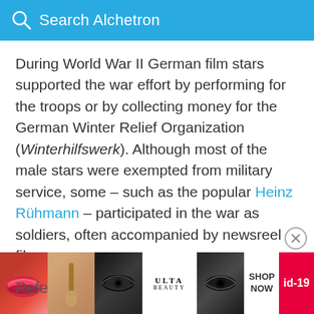Search Alchetron
During World War II German film stars supported the war effort by performing for the troops or by collecting money for the German Winter Relief Organization (Winterhilfswerk). Although most of the male stars were exempted from military service, some – such as the popular Heinz Rühmann – participated in the war as soldiers, often accompanied by newsreel film crews.
More Alchetron Topics
Refe